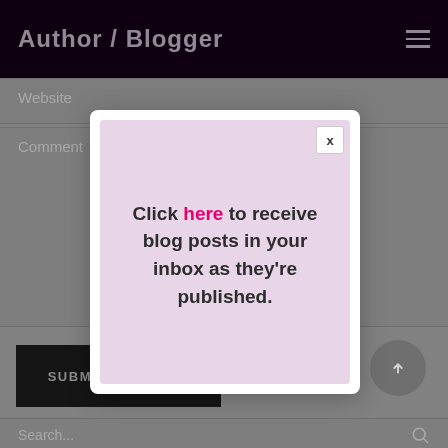Author / Blogger
Website
Comment
[Figure (screenshot): Modal popup on a blog comment form with text: Click here to receive blog posts in your inbox as they're published. Close button X in top right.]
SUBMIT COMMENT
Search...